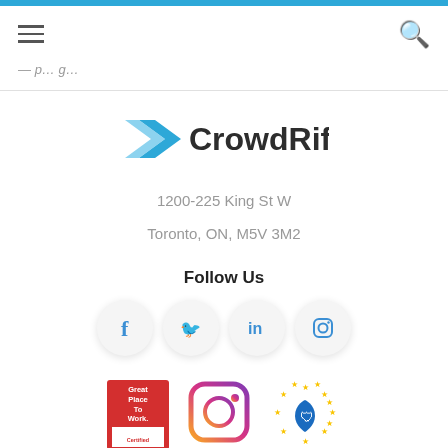CrowdRiff navigation and search bar
1200-225 King St W
Toronto, ON, M5V 3M2
Follow Us
[Figure (logo): CrowdRiff company logo with blue chevron arrow and dark grey wordmark]
[Figure (infographic): Social media icon buttons: Facebook, Twitter, LinkedIn, Instagram in light circular buttons]
[Figure (infographic): Badges row: Great Place To Work Certified badge (red), Instagram logo badge (purple gradient), GDPR/EU shield badge (blue with yellow stars)]